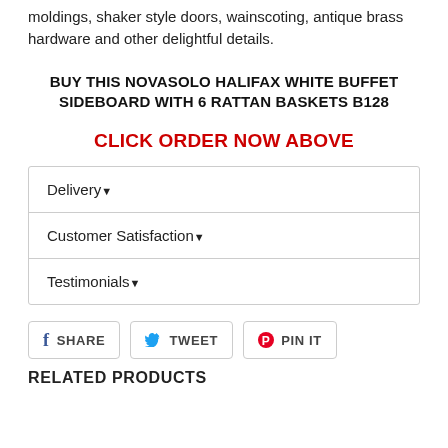moldings, shaker style doors, wainscoting, antique brass hardware and other delightful details.
BUY THIS NOVASOLO HALIFAX WHITE BUFFET SIDEBOARD WITH 6 RATTAN BASKETS B128
CLICK ORDER NOW ABOVE
| Delivery▼ |
| Customer Satisfaction▼ |
| Testimonials▼ |
f SHARE   TWEET   PIN IT
RELATED PRODUCTS